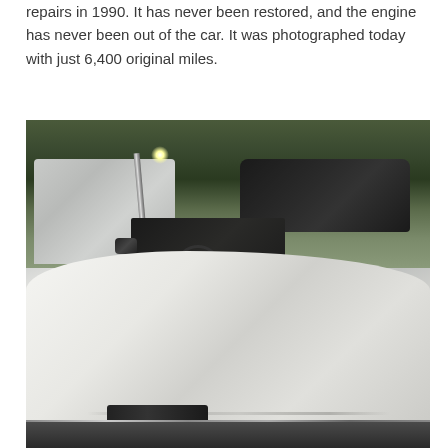repairs in 1990. It has never been restored, and the engine has never been out of the car. It was photographed today with just 6,400 original miles.
[Figure (photo): Photograph of a classic white convertible sports car (appears to be a vintage Corvette or similar) with the top down, showing the side profile with chrome windshield pillar, folded black convertible top, side mirror, and white body panels. A truck is visible in the background. The car is parked on asphalt with trees in the background.]